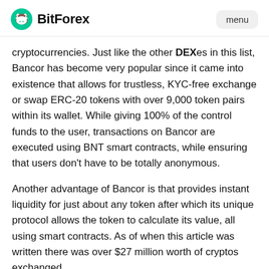BitForex | menu
cryptocurrencies. Just like the other DEXes in this list, Bancor has become very popular since it came into existence that allows for trustless, KYC-free exchange or swap ERC-20 tokens with over 9,000 token pairs within its wallet. While giving 100% of the control funds to the user, transactions on Bancor are executed using BNT smart contracts, while ensuring that users don't have to be totally anonymous.
Another advantage of Bancor is that provides instant liquidity for just about any token after which its unique protocol allows the token to calculate its value, all using smart contracts. As of when this article was written there was over $27 million worth of cryptos exchanged.
5. Balancer